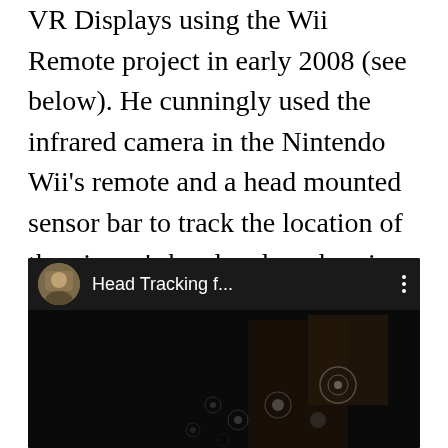VR Displays using the Wii Remote project in early 2008 (see below). He cunningly used the infrared camera in the Nintendo Wii's remote and a head mounted sensor bar to track the location of the viewer's head and render view dependent images on the screen. He called it a "portal to the virtual environment".
[Figure (screenshot): YouTube video embed showing 'Head Tracking f...' with a circular avatar thumbnail of a person, dark video frame with faint circular light reflections visible on a dark background.]